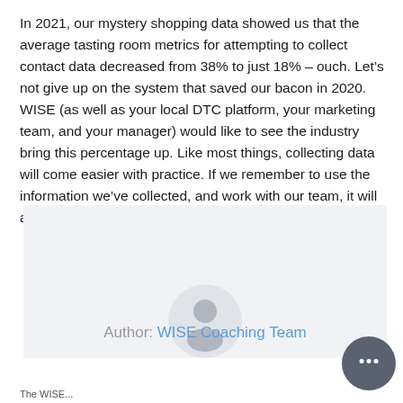In 2021, our mystery shopping data showed us that the average tasting room metrics for attempting to collect contact data decreased from 38% to just 18% – ouch. Let's not give up on the system that saved our bacon in 2020. WISE (as well as your local DTC platform, your marketing team, and your manager) would like to see the industry bring this percentage up. Like most things, collecting data will come easier with practice. If we remember to use the information we've collected, and work with our team, it will also make our jobs easier and more fun.
[Figure (illustration): A light grey card/box with a default avatar icon (circle with person silhouette) centered inside it, and an author label below reading 'Author: WISE Coaching Team'. A dark grey chat bubble button appears at the bottom right.]
Author: WISE Coaching Team